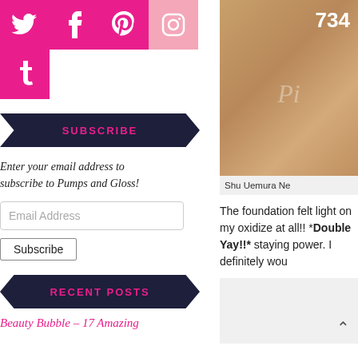[Figure (other): Social media icons: Twitter (hot pink), Facebook (hot pink), Pinterest (hot pink), Instagram (light pink), Tumblr (hot pink)]
SUBSCRIBE
Enter your email address to subscribe to Pumps and Gloss!
Email Address
Subscribe
RECENT POSTS
Beauty Bubble – 17 Amazing
[Figure (photo): Close-up of a foundation product showing number 734, with brand script text overlay on a warm brown/tan skin texture background]
Shu Uemura Ne
The foundation felt light on my oxidize at all!! *Double Yay!!* staying power. I definitely wou